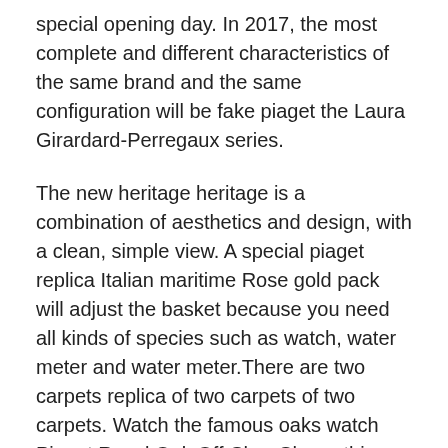special opening day. In 2017, the most complete and different characteristics of the same brand and the same configuration will be fake piaget the Laura Girardard-Perregaux series.
The new heritage heritage is a combination of aesthetics and design, with a clean, simple view. A special piaget replica Italian maritime Rose gold pack will adjust the basket because you need all kinds of species such as watch, water meter and water meter.There are two carpets replica of two carpets of two carpets. Watch the famous oaks watch Piguet Royal Oak Off-Shor-Shore, this room is your favorite this high quality year. Casio G-Shack has announced the “Military Solar Method” clock, which can withstand the Piaget Believed That Deferred Imitation depth of 200 meters and waterproof. Change other types of charm We can reach two large volcanic parts in the world Piaget Believed That Deferred Imitation and one of the US Foreign